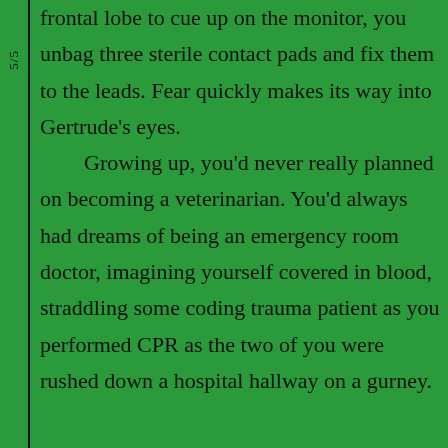frontal lobe to cue up on the monitor, you unbag three sterile contact pads and fix them to the leads. Fear quickly makes its way into Gertrude's eyes.
	Growing up, you'd never really planned on becoming a veterinarian. You'd always had dreams of being an emergency room doctor, imagining yourself covered in blood, straddling some coding trauma patient as you performed CPR as the two of you were rushed down a hospital hallway on a gurney.